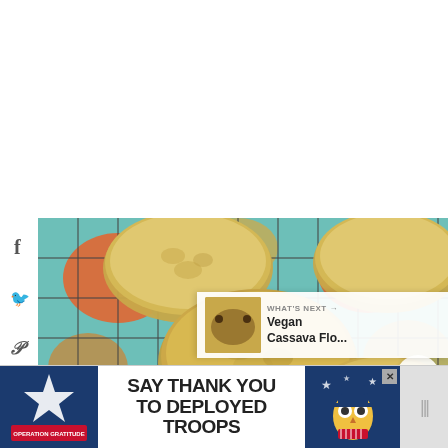[Figure (photo): Overhead view of golden-baked oatmeal or grain cookies/muffins arranged on a wire cooling rack over a colorful floral fabric/surface. Social media share icons (Facebook, Twitter, Pinterest, Email, Print, More) visible on left sidebar. Heart and share action buttons on right side. 'What's Next' overlay in bottom-right showing a thumbnail of Vegan Cassava Flo... recipe.]
WHAT'S NEXT →
Vegan Cassava Flo...
[Figure (infographic): Advertisement banner: Operation Gratitude - SAY THANK YOU TO DEPLOYED TROOPS, with patriotic American flag imagery and mascot owl character in military uniform]